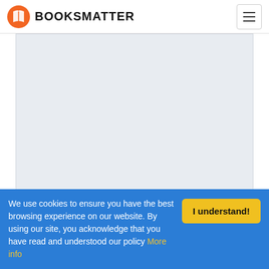BOOKSMATTER
[Figure (other): Book cover image area — light gray placeholder rectangle representing a book cover]
The New Avengers #1. Graphic Novels.
Brian
We use cookies to ensure you have the best browsing experience on our website. By using our site, you acknowledge that you have read and understood our policy More info